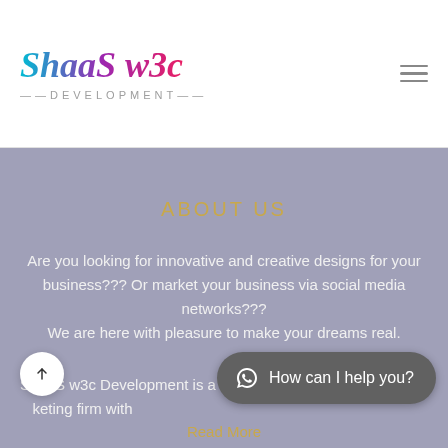ShaaS w3c DEVELOPMENT
ABOUT US
Are you looking for innovative and creative designs for your business??? Or market your business via social media networks??? We are here with pleasure to make your dreams real.
ShaaS w3c Development is a developing, designing, and marketing firm with
How can I help you?
Read More